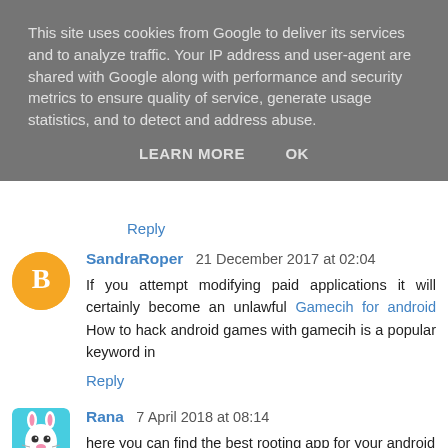This site uses cookies from Google to deliver its services and to analyze traffic. Your IP address and user-agent are shared with Google along with performance and security metrics to ensure quality of service, generate usage statistics, and to detect and address abuse.
LEARN MORE   OK
Reply
SandraRoper  21 December 2017 at 02:04
If you attempt modifying paid applications it will certainly become an unlawful Gamecih for android How to hack android games with gamecih is a popular keyword in
Reply
Rana  7 April 2018 at 08:14
here you can find the best rooting app for your android